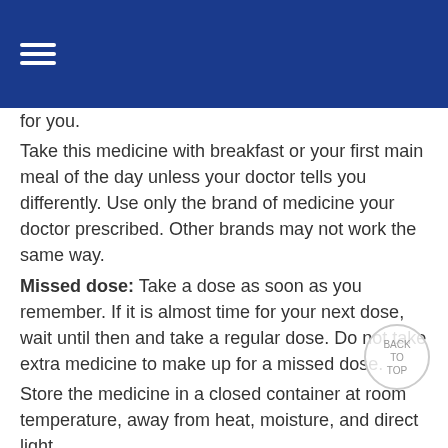for you.
Take this medicine with breakfast or your first main meal of the day unless your doctor tells you differently. Use only the brand of medicine your doctor prescribed. Other brands may not work the same way.
Missed dose: Take a dose as soon as you remember. If it is almost time for your next dose, wait until then and take a regular dose. Do not take extra medicine to make up for a missed dose.
Store the medicine in a closed container at room temperature, away from heat, moisture, and direct light.
Drugs and Foods to Avoid:
Ask your doctor or pharmacist before using any other medicine, including over-the-counter medicines, vitamins